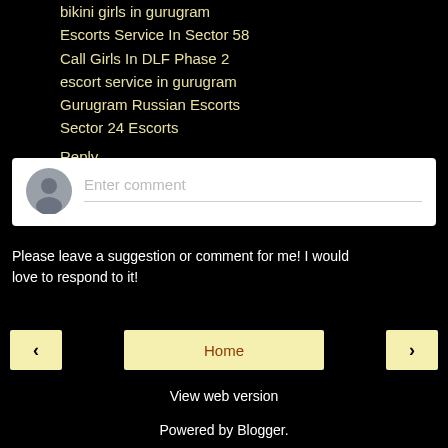bikini girls in gurugram
Escorts Service In Sector 58
Call Girls In DLF Phase 2
escort service in gurugram
Gurugram Russian Escorts
Sector 24 Escorts
Reply
[Figure (other): Comment input box with user avatar placeholder and 'Enter comment' placeholder text]
Please leave a suggestion or comment for me! I would love to respond to it!
< Home >
View web version
Powered by Blogger.